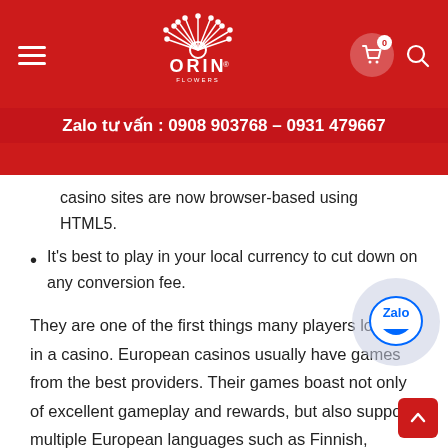ORIN — Zalo tư vấn : 0908 903768 – 0931 479667
casino sites are now browser-based using HTML5.
It's best to play in your local currency to cut down on any conversion fee.
They are one of the first things many players look for in a casino. European casinos usually have games from the best providers. Their games boast not only of excellent gameplay and rewards, but also support multiple European languages such as Finnish, Swedish, Norwegian, German, and Danish. Microgaming, Ezugi and Playtech are the major providers of online poker games such as Hold'em, Omaha, Seven Card Stud, 6-Plus